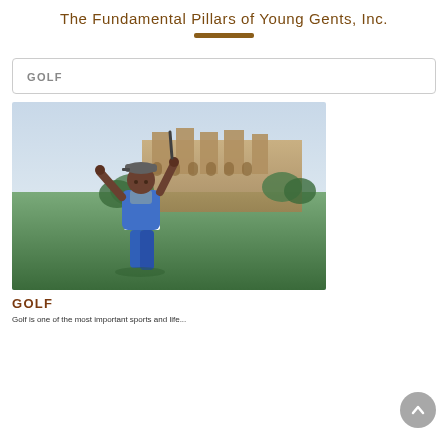The Fundamental Pillars of Young Gents, Inc.
GOLF
[Figure (photo): Young boy in blue polo shirt and blue shorts completing a golf swing follow-through, wearing a cap, with a large stone mansion building and green trees in the background on a golf course.]
GOLF
Golf is one of the most important sports and life...